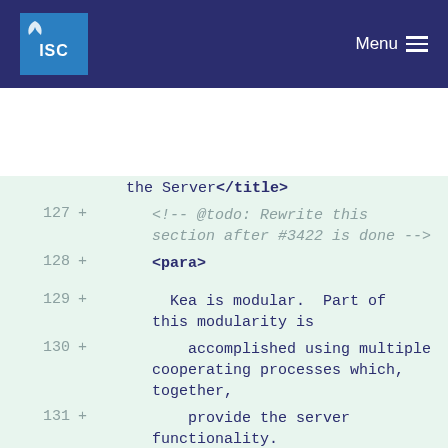ISC — Menu
[Figure (screenshot): Code diff view showing XML documentation lines 127-136 with line numbers, plus signs, and code content on a light green background. Lines include XML comments with @todo annotations and XML para tags with text about Kea being modular and using cooperating processes.]